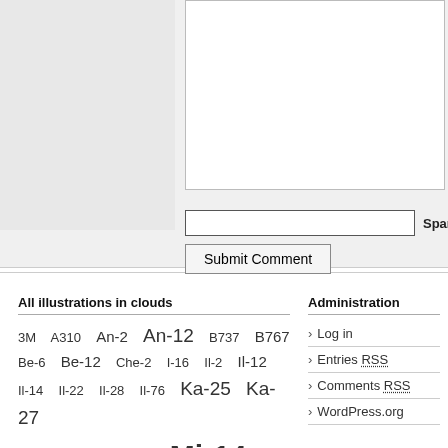[Figure (screenshot): Web form section with a textarea, a spam protection input field, and a Submit Comment button on a grey background]
All illustrations in clouds
3M A310 An-2 An-12 B737 B767 Be-6 Be-12 Che-2 I-16 Il-2 Il-12 Il-14 Il-22 Il-28 Il-76 Ka-25 Ka-27 Ka-29 Mi-4 Mi-8 Mi-14 Mi-24 MiG-3 MiG-15 MiG-25 MiG- ... SR ...
Administration
Log in
Entries RSS
Comments RSS
WordPress.org